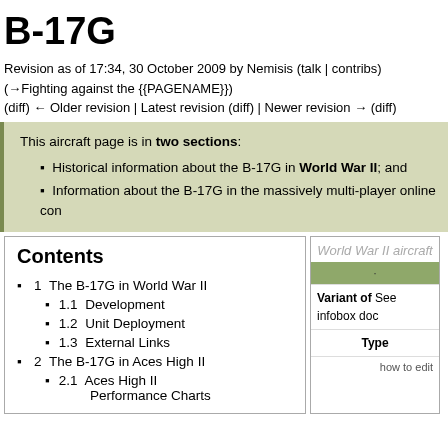B-17G
Revision as of 17:34, 30 October 2009 by Nemisis (talk | contribs)
(→Fighting against the {{PAGENAME}})
(diff) ← Older revision | Latest revision (diff) | Newer revision → (diff)
This aircraft page is in two sections:
• Historical information about the B-17G in World War II; and
• Information about the B-17G in the massively multi-player online com...
Contents
1  The B-17G in World War II
1.1  Development
1.2  Unit Deployment
1.3  External Links
2  The B-17G in Aces High II
2.1  Aces High II Performance Charts
| World War II aircraft |
| --- |
|  |
| Variant of See infobox doc |
| Type |
| how to edit |